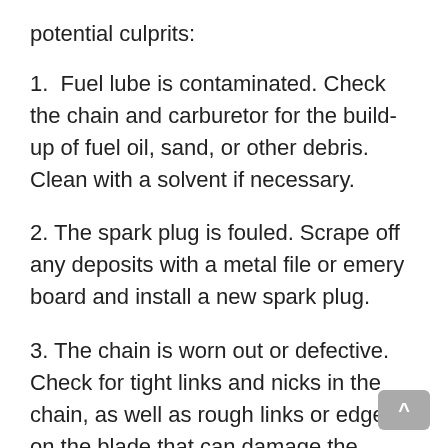potential culprits:
1.  Fuel lube is contaminated. Check the chain and carburetor for the build-up of fuel oil, sand, or other debris. Clean with a solvent if necessary.
2. The spark plug is fouled. Scrape off any deposits with a metal file or emery board and install a new spark plug.
3. The chain is worn out or defective. Check for tight links and nicks in the chain, as well as rough links or edges on the blade that can damage the engine's crankshaft